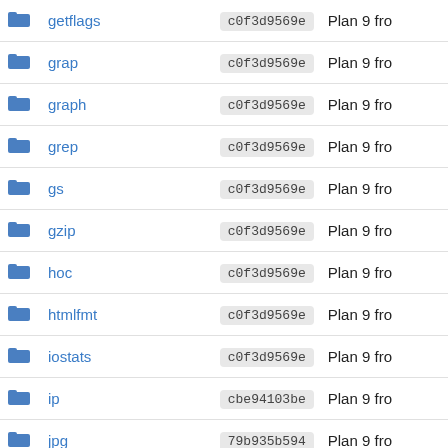|  | Name | Hash | Description |
| --- | --- | --- | --- |
|  | getflags | c0f3d9569e | Plan 9 fro |
|  | grap | c0f3d9569e | Plan 9 fro |
|  | graph | c0f3d9569e | Plan 9 fro |
|  | grep | c0f3d9569e | Plan 9 fro |
|  | gs | c0f3d9569e | Plan 9 fro |
|  | gzip | c0f3d9569e | Plan 9 fro |
|  | hoc | c0f3d9569e | Plan 9 fro |
|  | htmlfmt | c0f3d9569e | Plan 9 fro |
|  | iostats | c0f3d9569e | Plan 9 fro |
|  | ip | cbe94103be | Plan 9 fro |
|  | jpg | 79b935b594 | Plan 9 fro |